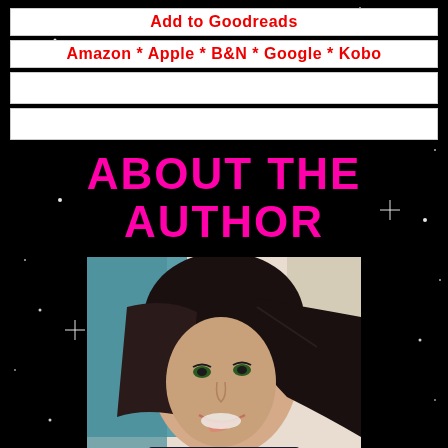Add to Goodreads
Amazon * Apple * B&N * Google * Kobo
ABOUT THE AUTHOR
[Figure (photo): Smiling young woman with long dark hair, wearing dark top, selfie-style photo against blurred indoor background]